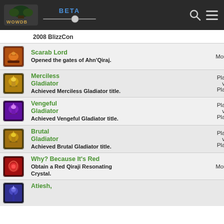WOWDB BETA
| Icon | Achievement |  |  |  | Category |
| --- | --- | --- | --- | --- | --- |
| [icon] | 2008 BlizzCon |  |  |  |  |
| [icon] | Scarab Lord — Opened the gates of Ahn'Qiraj. |  |  |  | Mounts |
| [icon] | Merciless Gladiator — Achieved Merciless Gladiator title. |  |  |  | Player vs Player |
| [icon] | Vengeful Gladiator — Achieved Vengeful Gladiator title. |  |  |  | Player vs Player |
| [icon] | Brutal Gladiator — Achieved Brutal Gladiator title. |  |  |  | Player vs Player |
| [icon] | Why? Because It's Red — Obtain a Red Qiraji Resonating Crystal. |  |  |  | Mounts |
| [icon] | Atiesh, ... |  |  |  |  |